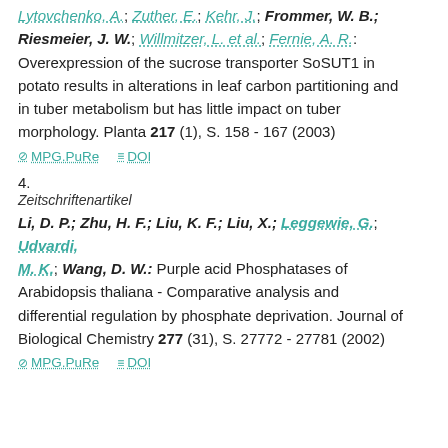Lytovchenko, A.; Zuther, E.; Kehr, J.; Frommer, W. B.; Riesmeier, J. W.; Willmitzer, L. et al.; Fernie, A. R.: Overexpression of the sucrose transporter SoSUT1 in potato results in alterations in leaf carbon partitioning and in tuber metabolism but has little impact on tuber morphology. Planta 217 (1), S. 158 - 167 (2003)
MPG.PuRe   DOI
4.
Zeitschriftenartikel
Li, D. P.; Zhu, H. F.; Liu, K. F.; Liu, X.; Leggewie, G.; Udvardi, M. K.; Wang, D. W.: Purple acid Phosphatases of Arabidopsis thaliana - Comparative analysis and differential regulation by phosphate deprivation. Journal of Biological Chemistry 277 (31), S. 27772 - 27781 (2002)
MPG.PuRe   DOI